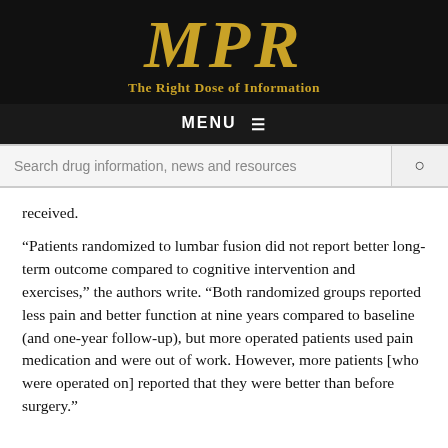MPR — The Right Dose of Information
received.
“Patients randomized to lumbar fusion did not report better long-term outcome compared to cognitive intervention and exercises,” the authors write. “Both randomized groups reported less pain and better function at nine years compared to baseline (and one-year follow-up), but more operated patients used pain medication and were out of work. However, more patients [who were operated on] reported that they were better than before surgery.”